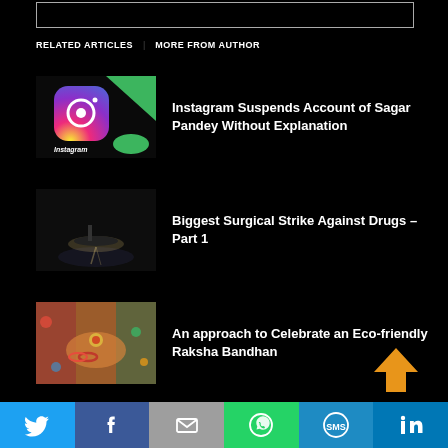RELATED ARTICLES   MORE FROM AUTHOR
Instagram Suspends Account of Sagar Pandey Without Explanation
Biggest Surgical Strike Against Drugs – Part 1
An approach to Celebrate an Eco-friendly Raksha Bandhan